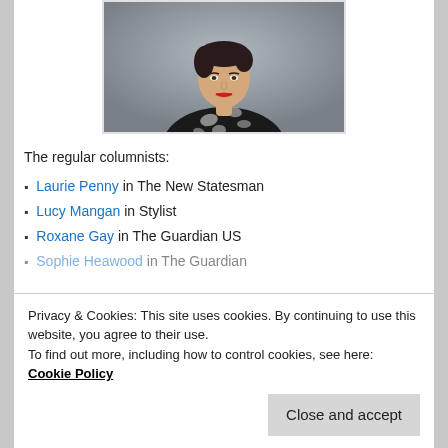[Figure (photo): Portrait photo of a woman with short dark hair, red lipstick, wearing a black and white patterned shirt, against a grey background.]
The regular columnists:
Laurie Penny in The New Statesman
Lucy Mangan in Stylist
Roxane Gay in The Guardian US
Sophie Heawood in The Guardian
Privacy & Cookies: This site uses cookies. By continuing to use this website, you agree to their use.
To find out more, including how to control cookies, see here: Cookie Policy
Close and accept